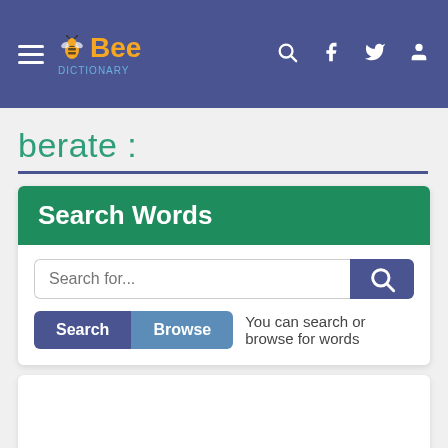[Figure (screenshot): Navigation bar with hamburger menu, Bee Dictionary logo, search icon, Facebook icon, Twitter icon, and user icon on a dark blue-purple background]
berate :
Search Words
Search for...
You can search or browse for words
[Figure (screenshot): Empty white content area with scroll-to-top button in bottom right corner]